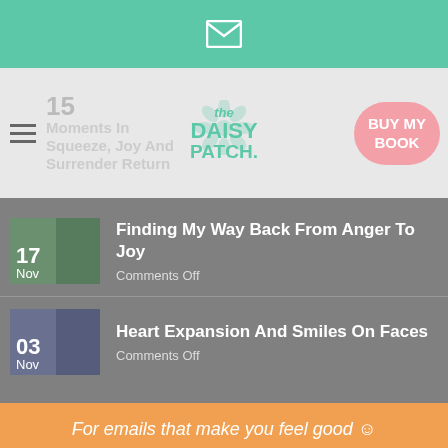[Figure (screenshot): Top teal bar with email/envelope icon]
[Figure (screenshot): Navigation bar with hamburger menu, date 15, blog post title 'Moments In Squeeze, Joy And Surrender Return', The Daisy Patch logo, and pink BUY MY BOOK button]
17 Nov - Finding My Way Back From Anger To Joy - Comments Off
03 Nov - Heart Expansion And Smiles On Faces - Comments Off
For emails that make you feel good 🌼
Enter your first name
Enter your email
SIGN ME UP